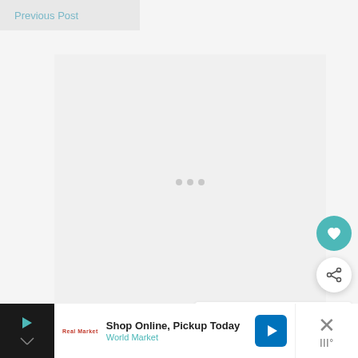Previous Post
[Figure (other): Large light gray advertisement placeholder area with three small loading dots in the center]
[Figure (other): Teal circular heart/favorite button]
[Figure (other): White circular share button with share icon]
[Figure (other): WHAT'S NEXT panel with thumbnail showing food image and text 'VIRAL TikTok Jennifer...']
Next Post
[Figure (other): Advertisement banner: Shop Online, Pickup Today - World Market with navigation icon, play button, retailer logo, and close X button]